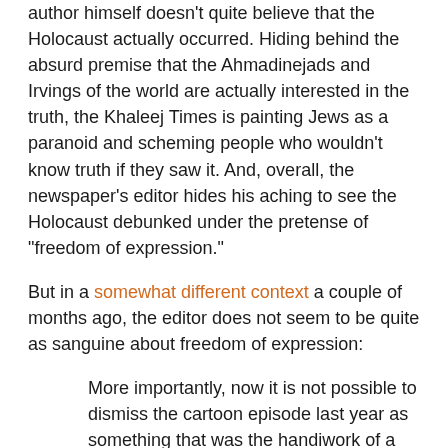author himself doesn't quite believe that the Holocaust actually occurred. Hiding behind the absurd premise that the Ahmadinejads and Irvings of the world are actually interested in the truth, the Khaleej Times is painting Jews as a paranoid and scheming people who wouldn't know truth if they saw it. And, overall, the newspaper's editor hides his aching to see the Holocaust debunked under the pretense of "freedom of expression."
But in a somewhat different context a couple of months ago, the editor does not seem to be quite as sanguine about freedom of expression:
More importantly, now it is not possible to dismiss the cartoon episode last year as something that was the handiwork of a loony and reckless cartoonist. Clearly, there is a method in the madness. In fact, these disturbing acts of vandalism are not limited to Denmark. They are part of what has become a disturbing trend across Europe as the right-wing media and politicians whip up paranoid frenzy against everything Islamic. There is sickness in the